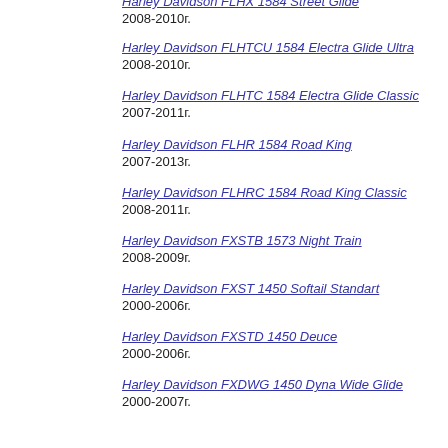Harley Davidson FLHX 1584 Street Glide
2008-2010г.
Harley Davidson FLHTCU 1584 Electra Glide Ultra
2008-2010г.
Harley Davidson FLHTC 1584 Electra Glide Classic
2007-2011г.
Harley Davidson FLHR 1584 Road King
2007-2013г.
Harley Davidson FLHRC 1584 Road King Classic
2008-2011г.
Harley Davidson FXSTB 1573 Night Train
2008-2009г.
Harley Davidson FXST 1450 Softail Standart
2000-2006г.
Harley Davidson FXSTD 1450 Deuce
2000-2006г.
Harley Davidson FXDWG 1450 Dyna Wide Glide
2000-2007г.